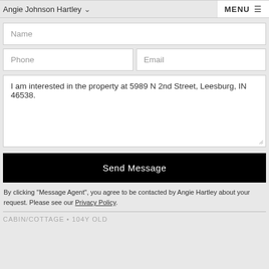Angie Johnson Hartley
MENU
Name
Phone
Email
I am interested in the property at 5989 N 2nd Street, Leesburg, IN 46538.
Send Message
By clicking "Message Agent", you agree to be contacted by Angie Hartley about your request. Please see our Privacy Policy.
CABIN/COTTAGE • 104Y OLD